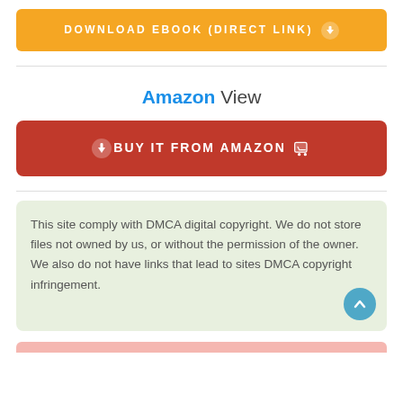[Figure (other): Orange download ebook button]
Amazon View
[Figure (other): Red buy it from Amazon button]
This site comply with DMCA digital copyright. We do not store files not owned by us, or without the permission of the owner. We also do not have links that lead to sites DMCA copyright infringement.